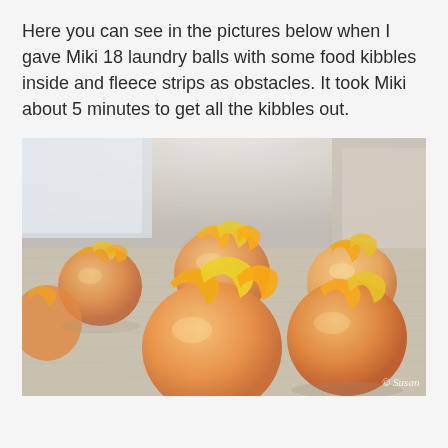Here you can see in the pictures below when I gave Miki 18 laundry balls with some food kibbles inside and fleece strips as obstacles. It took Miki about 5 minutes to get all the kibbles out.
[Figure (photo): Close-up photo of several orange/pink translucent spherical laundry balls placed on a carpet, each with yellow-orange fleece fabric strips inserted into their openings, creating a flower-like appearance. A watermark reading '© Susan' appears in the bottom right corner.]